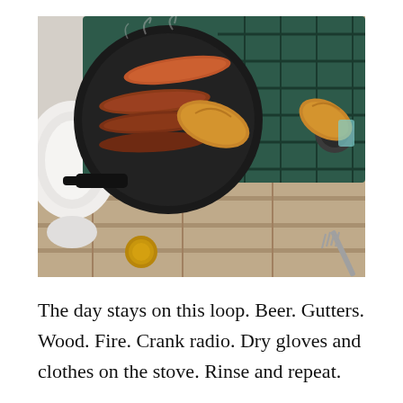[Figure (photo): Overhead view of a cast iron skillet on a green camp stove, with hot dogs and hot dog buns cooking. A white plate is visible to the left, a fork to the lower right, and a bottle cap to the lower left. The stove sits on wooden decking.]
The day stays on this loop. Beer. Gutters. Wood. Fire. Crank radio. Dry gloves and clothes on the stove. Rinse and repeat.